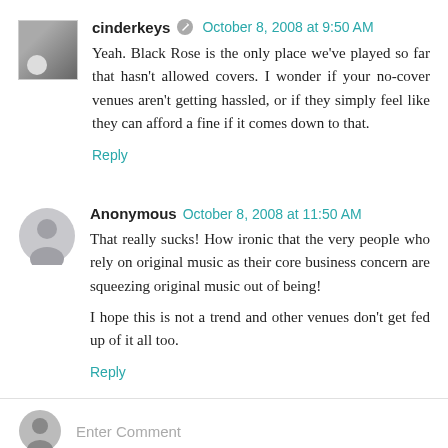cinderkeys  October 8, 2008 at 9:50 AM
Yeah. Black Rose is the only place we've played so far that hasn't allowed covers. I wonder if your no-cover venues aren't getting hassled, or if they simply feel like they can afford a fine if it comes down to that.
Reply
Anonymous  October 8, 2008 at 11:50 AM
That really sucks! How ironic that the very people who rely on original music as their core business concern are squeezing original music out of being!
I hope this is not a trend and other venues don't get fed up of it all too.
Reply
Enter Comment